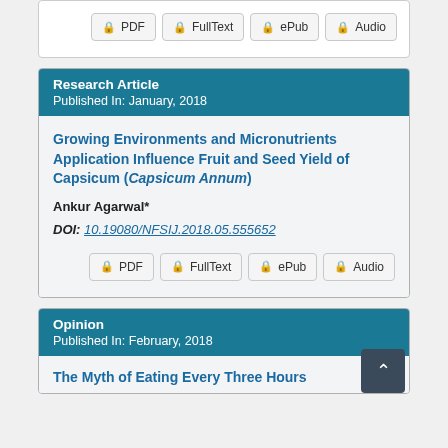PDF | FullText | ePub | Audio (buttons, top card)
Research Article
Published In: January, 2018
Growing Environments and Micronutrients Application Influence Fruit and Seed Yield of Capsicum (Capsicum Annum)
Ankur Agarwal*
DOI: 10.19080/NFSIJ.2018.05.555652
PDF | FullText | ePub | Audio (buttons, article card)
Opinion
Published In: February, 2018
The Myth of Eating Every Three Hours